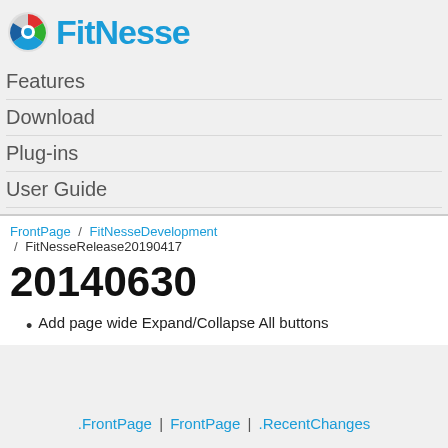[Figure (logo): FitNesse logo with circular icon and blue text]
Features
Download
Plug-ins
User Guide
FrontPage / FitNesseDevelopment / FitNesseRelease20190417
20140630
Add page wide Expand/Collapse All buttons
.FrontPage | FrontPage | .RecentChanges